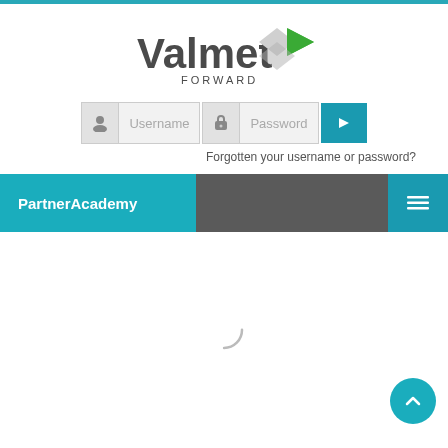[Figure (logo): Valmet Forward logo with green arrow icon]
[Figure (screenshot): Login form with Username and Password fields and submit arrow button]
Forgotten your username or password?
PartnerAcademy
[Figure (other): Loading spinner icon in center of content area]
[Figure (other): Scroll to top button (chevron up) in bottom right corner]